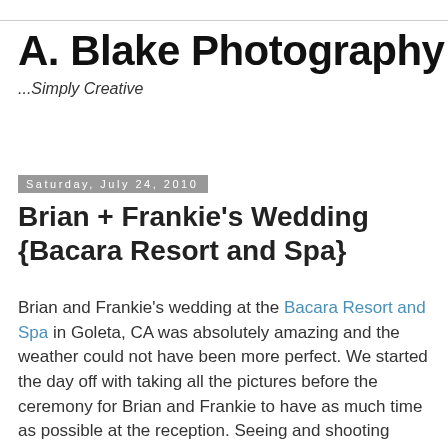A. Blake Photography
...Simply Creative
Saturday, July 24, 2010
Brian + Frankie's Wedding {Bacara Resort and Spa}
Brian and Frankie's wedding at the Bacara Resort and Spa in Goleta, CA was absolutely amazing and the weather could not have been more perfect. We started the day off with taking all the pictures before the ceremony for Brian and Frankie to have as much time as possible at the reception. Seeing and shooting Frankie first, I was thrilled to capture Brian looking at her for the first time since she looked absolutely exquisite! Her smile while she laughs is priceless and I knew Brian would bring it out even more. I was right. Upon his first sight of her, he kept saying, "Wow! Wow!"... those were also the exact words I heard him say